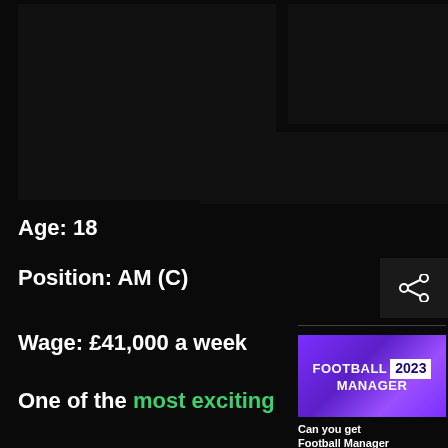[Figure (screenshot): Dark screenshot area with blacked-out content blocks forming an L-shape layout at the top of the page]
Age: 18
Position: AM (C)
Wage: £41,000 a week
One of the most exciting
[Figure (screenshot): Football Manager 2023 promotional thumbnail with purple gradient background showing the game logo]
Can you get Football Manager